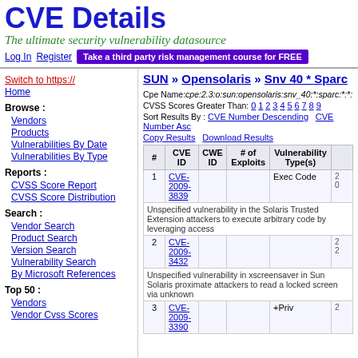CVE Details
The ultimate security vulnerability datasource
Log In   Register   Take a third party risk management course for FREE
Switch to https://
Home
Browse :
Vendors
Products
Vulnerabilities By Date
Vulnerabilities By Type
Reports :
CVSS Score Report
CVSS Score Distribution
Search :
Vendor Search
Product Search
Version Search
Vulnerability Search
By Microsoft References
Top 50 :
Vendors
Vendor Cvss Scores
SUN » Opensolaris » Snv 40 * Sparc
Cpe Name:cpe:2.3:o:sun:opensolaris:snv_40:*:sparc:*:*:*
CVSS Scores Greater Than: 0 1 2 3 4 5 6 7 8 9
Sort Results By : CVE Number Descending   CVE Number Asc
Copy Results   Download Results
| # | CVE ID | CWE ID | # of Exploits | Vulnerability Type(s) |
| --- | --- | --- | --- | --- |
| 1 | CVE-2009-3839 |  |  | Exec Code |
| 2 | CVE-2009-3432 |  |  |  |
| 3 | CVE-2009-3390 |  |  | +Priv |
Unspecified vulnerability in the Solaris Trusted Extension attackers to execute arbitrary code by leveraging access...
Unspecified vulnerability in xscreensaver in Sun Solaris proximate attackers to read a locked screen via unknown...